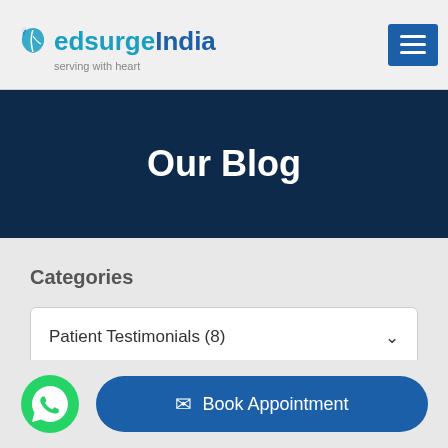Medsurge India — serving with heart
Our Blog
Categories
Patient Testimonials (8)
Book Appointment